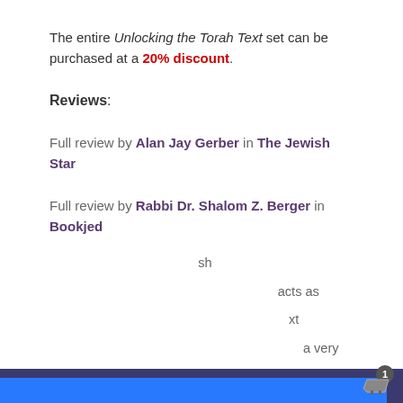The entire Unlocking the Torah Text set can be purchased at a 20% discount.
Reviews:
Full review by Alan Jay Gerber in The Jewish Star
Full review by Rabbi Dr. Shalom Z. Berger in Bookjed
This website stores data such as cookies to enable essential site functionality, as well as marketing, personalization, and analytics. By remaining on this website you indicate your consent.
Privacy Policy